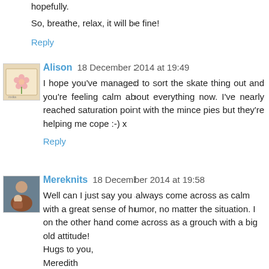hopefully.
So, breathe, relax, it will be fine!
Reply
Alison  18 December 2014 at 19:49
I hope you've managed to sort the skate thing out and you're feeling calm about everything now. I've nearly reached saturation point with the mince pies but they're helping me cope :-) x
Reply
Mereknits  18 December 2014 at 19:58
Well can I just say you always come across as calm with a great sense of humor, no matter the situation. I on the other hand come across as a grouch with a big old attitude! Hugs to you, Meredith